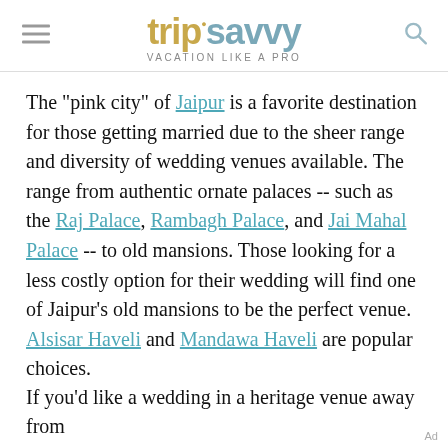trip savvy — VACATION LIKE A PRO
The "pink city" of Jaipur is a favorite destination for those getting married due to the sheer range and diversity of wedding venues available. The range from authentic ornate palaces -- such as the Raj Palace, Rambagh Palace, and Jai Mahal Palace -- to old mansions. Those looking for a less costly option for their wedding will find one of Jaipur's old mansions to be the perfect venue. Alsisar Haveli and Mandawa Haveli are popular choices.
If you'd like a wedding in a heritage venue away from